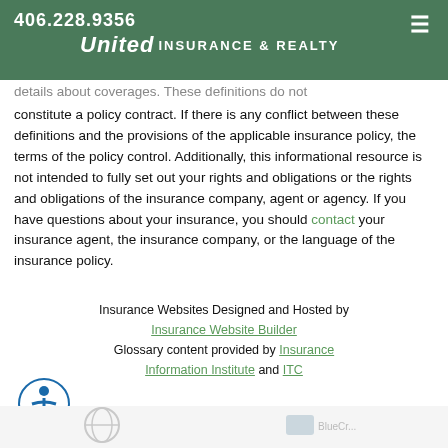406.228.9356 | United Insurance & Realty
details about coverages. These definitions do not constitute a policy contract. If there is any conflict between these definitions and the provisions of the applicable insurance policy, the terms of the policy control. Additionally, this informational resource is not intended to fully set out your rights and obligations or the rights and obligations of the insurance company, agent or agency. If you have questions about your insurance, you should contact your insurance agent, the insurance company, or the language of the insurance policy.
Insurance Websites Designed and Hosted by Insurance Website Builder
Glossary content provided by Insurance Information Institute and ITC